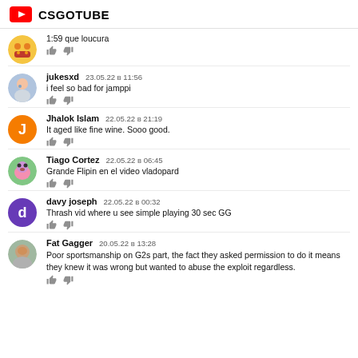CSGOTUBE
1:59 que loucura
jukesxd  23.05.22 в 11:56
i feel so bad for jamppi
Jhalok Islam  22.05.22 в 21:19
It aged like fine wine. Sooo good.
Tiago Cortez  22.05.22 в 06:45
Grande Flipin en el video vladopard
davy joseph  22.05.22 в 00:32
Thrash vid where u see simple playing 30 sec GG
Fat Gagger  20.05.22 в 13:28
Poor sportsmanship on G2s part, the fact they asked permission to do it means they knew it was wrong but wanted to abuse the exploit regardless.